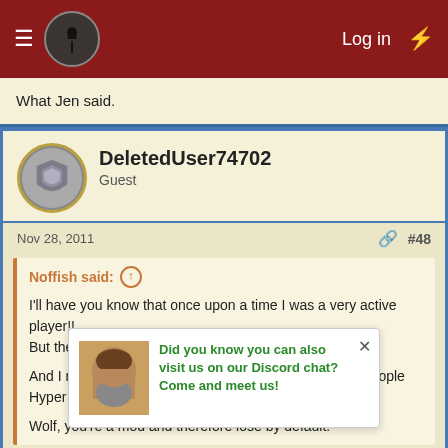Log in
What Jen said.
DeletedUser74702
Guest
Nov 28, 2011  #48
Noffish said:
I'll have you know that once upon a time I was a very active player!!
But then that day finished and things went downhill....

And I refuse to accept such comments from you of all people Hyper D:

Wolf, you're a mod and therefore lose by default.
:-o What the hell are you talking about? I was the third most active player on our list! Top 3
Mozzi87
Did you know you can also visit us on our Discord chat? Come and meet us!